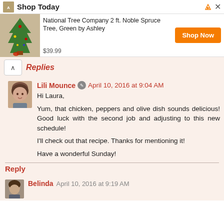Shop Today
[Figure (screenshot): Advertisement banner for National Tree Company 2 ft. Noble Spruce Tree, Green by Ashley, priced at $39.99 with a Shop Now button]
Replies
Lili Mounce April 10, 2016 at 9:04 AM
Hi Laura,
Yum, that chicken, peppers and olive dish sounds delicious! Good luck with the second job and adjusting to this new schedule!

I'll check out that recipe. Thanks for mentioning it!

Have a wonderful Sunday!
Reply
Belinda April 10, 2016 at 9:19 AM